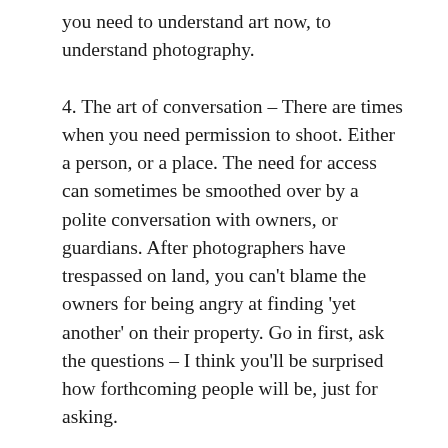you need to understand art now, to understand photography.
4. The art of conversation – There are times when you need permission to shoot.  Either a person, or a place.  The need for access can sometimes be smoothed over by a polite conversation with owners, or guardians.  After photographers have trespassed on land, you can't blame the owners for being angry at finding 'yet another' on their property.  Go in first, ask the questions – I think you'll be surprised how forthcoming people will be, just for asking.
5. And lastly – filing and organisation – there